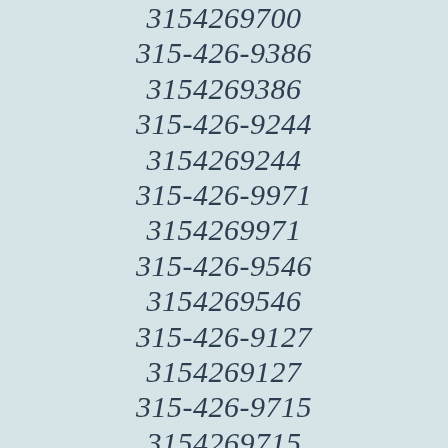3154269700
315-426-9386
3154269386
315-426-9244
3154269244
315-426-9971
3154269971
315-426-9546
3154269546
315-426-9127
3154269127
315-426-9715
3154269715
315-426-9184
3154269184
315-426-9076